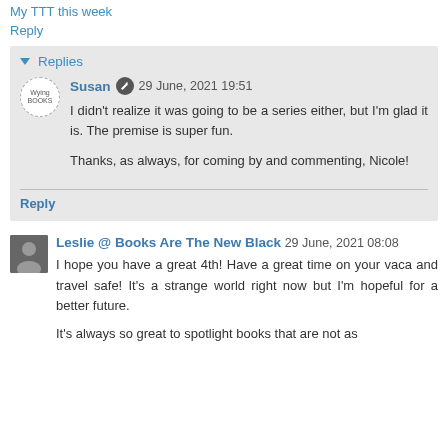My TTT this week
Reply
Replies
Susan 29 June, 2021 19:51
I didn't realize it was going to be a series either, but I'm glad it is. The premise is super fun.

Thanks, as always, for coming by and commenting, Nicole!
Reply
Leslie @ Books Are The New Black 29 June, 2021 08:08
I hope you have a great 4th! Have a great time on your vaca and travel safe! It's a strange world right now but I'm hopeful for a better future.

It's always so great to spotlight books that are not as